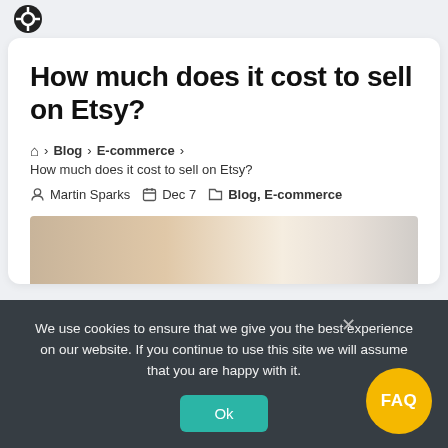How much does it cost to sell on Etsy?
🏠 › Blog › E-commerce › How much does it cost to sell on Etsy?
Martin Sparks   Dec 7   Blog, E-commerce
[Figure (photo): Partial view of a blurred product/shop photo]
We use cookies to ensure that we give you the best experience on our website. If you continue to use this site we will assume that you are happy with it.
Ok
FAQ